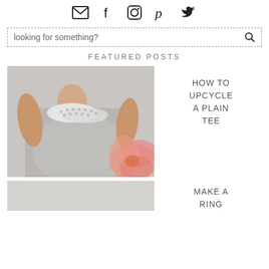[Figure (other): Social media icons row: email, facebook, instagram, pinterest, twitter]
looking for something?
FEATURED POSTS
[Figure (photo): Photo of a person wearing a grey sleeveless t-shirt with a white lace/studded collar, with a pink flower in the background]
HOW TO UPCYCLE A PLAIN TEE
[Figure (photo): Partial photo of second featured post (bottom of page, cropped)]
MAKE A RING